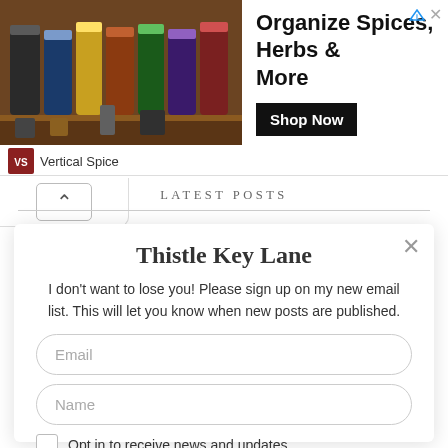[Figure (photo): Advertisement banner for Vertical Spice showing spice organizer shelves with bottles, headline 'Organize Spices, Herbs & More', and a 'Shop Now' button]
Vertical Spice
LATEST POSTS
Thistle Key Lane
I don't want to lose you! Please sign up on my new email list. This will let you know when new posts are published.
Email
Name
Opt in to receive news and updates.
SUBSCRIBE